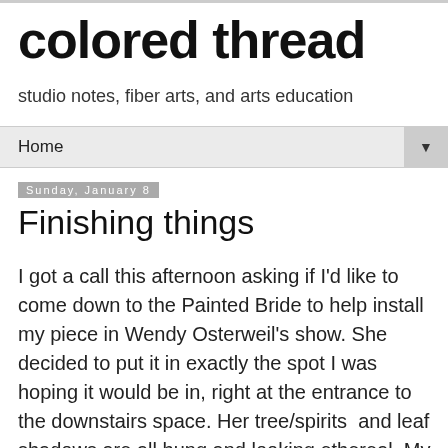colored thread
studio notes, fiber arts, and arts education
Home ▼
Sunday, January 8
Finishing things
I got a call this afternoon asking if I'd like to come down to the Painted Bride to help install my piece in Wendy Osterweil's show. She decided to put it in exactly the spot I was hoping it would be in, right at the entrance to the downstairs space. Her tree/spirits  and leaf shadows are all hung and looking ethereal. My piece blends in so well since it used many of the same organza fabrics as her trees and has some similar textures. The swoop of it leads the eye into the space, and it's at such a great scale. The show opens February 3rd. More info here including a video of me